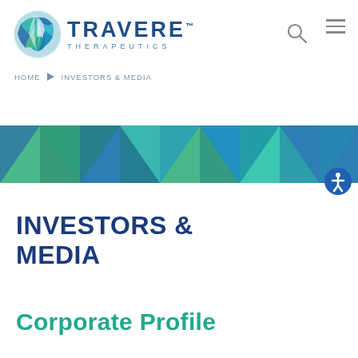[Figure (logo): Travere Therapeutics logo with circular globe icon and company name]
HOME > INVESTORS & MEDIA
[Figure (illustration): Decorative geometric triangle banner in shades of teal, green, and blue]
INVESTORS & MEDIA
Corporate Profile